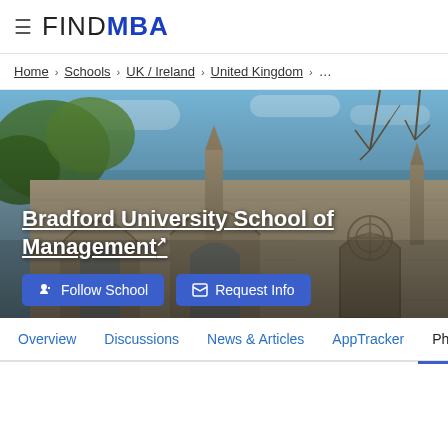≡ FINDMBA
Home › Schools › UK / Ireland › United Kingdom › …
[Figure (photo): Exterior photograph of Bradford University School of Management building — a Gothic stone building with pointed arches, spires, and ornate stonework, photographed against a blue sky with trees.]
Bradford University School of Management↗
👍 Follow School   ✉ Request Info
Overview   Discussions   News & Articles   AppTracker   Pho…